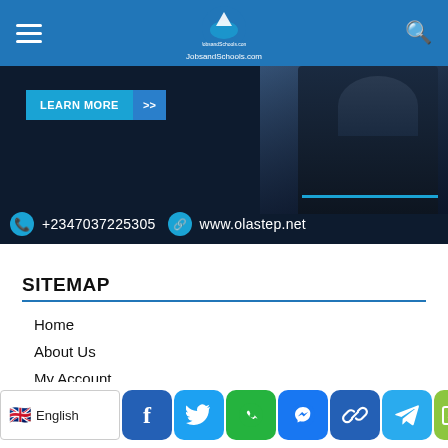JobsandSchools.com — navigation header with hamburger menu, logo, and search icon
[Figure (screenshot): Advertisement banner for olastep.net on dark navy background showing LEARN MORE button, photo of person in suit, phone number +2347037225305 and website www.olastep.net]
SITEMAP
Home
About Us
My Account
Jobs
Scholarships
[Figure (screenshot): Social media share buttons bar: English language badge with UK flag, Facebook, Twitter, WhatsApp, Messenger, Link, Telegram, SMS, and Plus buttons]